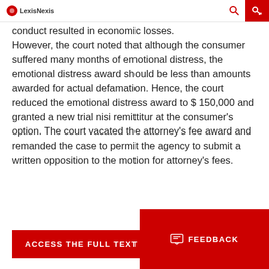LexisNexis
conduct resulted in economic losses. However, the court noted that although the consumer suffered many months of emotional distress, the emotional distress award should be less than amounts awarded for actual defamation. Hence, the court reduced the emotional distress award to $ 150,000 and granted a new trial nisi remittitur at the consumer's option. The court vacated the attorney's fee award and remanded the case to permit the agency to submit a written opposition to the motion for attorney's fees.
ACCESS THE FULL TEXT CASE
FEEDBACK